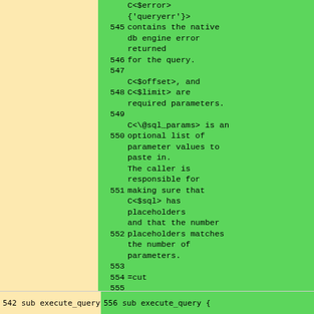C<$error>
{'queryerr'}>
545 contains the native db engine error returned
546 for the query.
547
548 C<$offset>, and C<$limit> are required parameters.
549
550 C<\@sql_params> is an optional list of parameter values to paste in.
551 The caller is responsible for making sure that C<$sql> has placeholders and that the number placeholders matches the number of parameters.
552 and that the number placeholders matches the number of parameters.
553
554 =cut
555
542 sub execute_query {
556 sub execute_query {